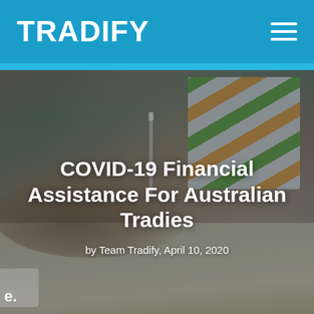TRADIFY
[Figure (photo): Background photo of a tradie's hand holding a pen and writing on paper, with a colorful striped work shirt visible in the background. The image is darkened with an overlay.]
COVID-19 Financial Assistance For Australian Tradies
by Team Tradify, April 10, 2020